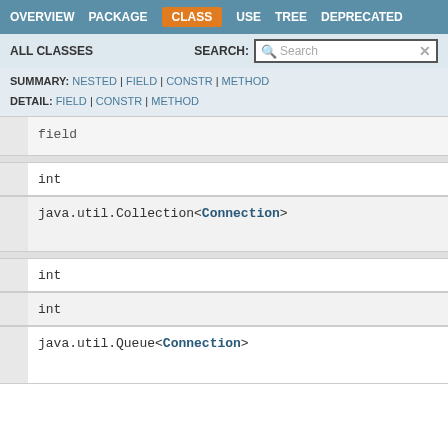OVERVIEW  PACKAGE  CLASS  USE  TREE  DEPRECATED
ALL CLASSES   SEARCH:
SUMMARY: NESTED | FIELD | CONSTR | METHOD
DETAIL: FIELD | CONSTR | METHOD
field
int
java.util.Collection<Connection>
int
int
java.util.Queue<Connection>